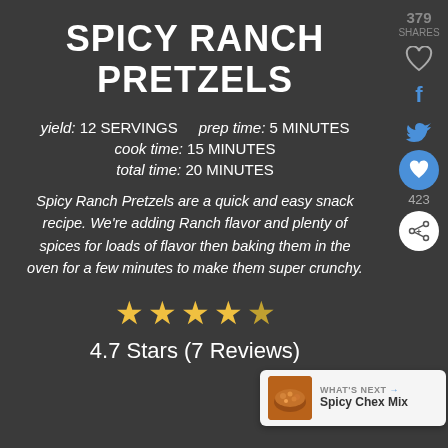SPICY RANCH PRETZELS
yield: 12 SERVINGS   prep time: 5 MINUTES
cook time: 15 MINUTES
total time: 20 MINUTES
Spicy Ranch Pretzels are a quick and easy snack recipe. We're adding Ranch flavor and plenty of spices for loads of flavor then baking them in the oven for a few minutes to make them super crunchy.
4.7 Stars (7 Reviews)
[Figure (infographic): Social share sidebar with 379 SHARES, heart icon, Facebook f icon, Twitter bird icon, heart circle icon, 423 count, and share button]
[Figure (infographic): What's Next panel showing Spicy Chex Mix with bowl image thumbnail]